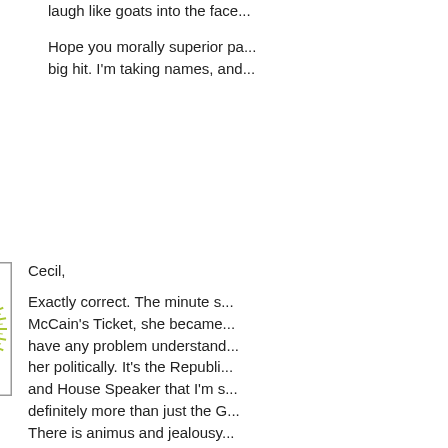laugh like goats into the face...
Hope you morally superior pa... big hit. I'm taking names, and...
[Figure (illustration): Green and white sunburst logo with a circular center on square background]
Cecil,
Exactly correct. The minute s... McCain's Ticket, she became... have any problem understand... her politically. It's the Republi... and House Speaker that I'm s... definitely more than just the O... There is animus and jealousy... is a significant bunch that jus... lousy job. It's a mix of reason... are in the hands of folks with... tough to ferret out if there are... and if so, what those reasons...
But I definitely think her out o... in-state perceptions, so thats...